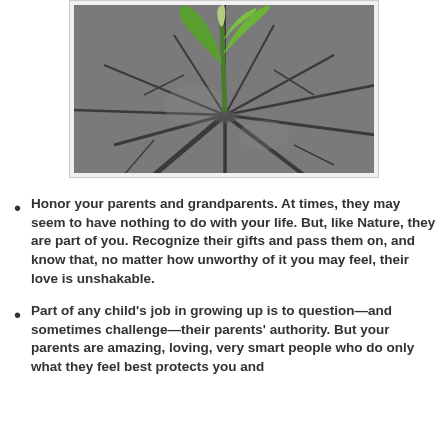[Figure (photo): A green plant seedling with leaves sprouting through cracked asphalt pavement, symbolizing resilience and growth.]
Honor your parents and grandparents. At times, they may seem to have nothing to do with your life. But, like Nature, they are part of you. Recognize their gifts and pass them on, and know that, no matter how unworthy of it you may feel, their love is unshakable.
Part of any child's job in growing up is to question—and sometimes challenge—their parents' authority. But your parents are amazing, loving, very smart people who do only what they feel best protects you and